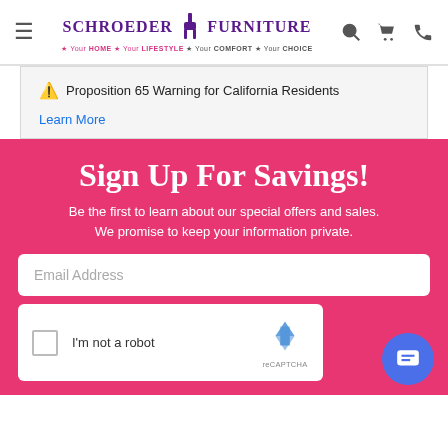Schroeder Furniture — Your HOME · Your LIFESTYLE · Your COMFORT · Your CHOICE
⚠ Proposition 65 Warning for California Residents
Learn More
Sign Up For Savings!
Be the first to learn about our special offers and sales. We promise to keep your information private.
Email Address
[Figure (screenshot): reCAPTCHA widget with checkbox labeled I'm not a robot and reCAPTCHA logo/branding]